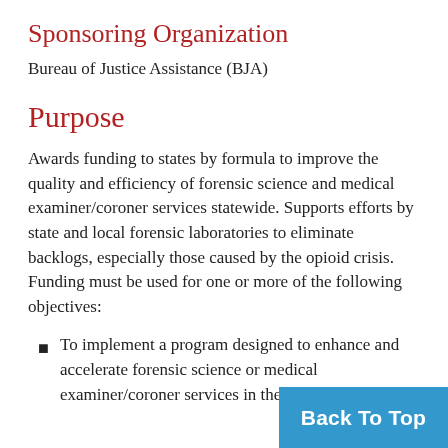Sponsoring Organization
Bureau of Justice Assistance (BJA)
Purpose
Awards funding to states by formula to improve the quality and efficiency of forensic science and medical examiner/coroner services statewide. Supports efforts by state and local forensic laboratories to eliminate backlogs, especially those caused by the opioid crisis. Funding must be used for one or more of the following objectives:
To implement a program designed to enhance and accelerate forensic science or medical examiner/coroner services in the state
Back To Top